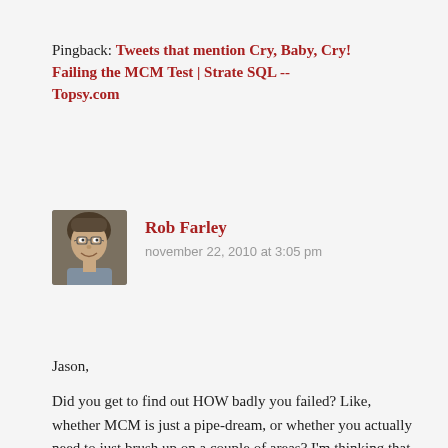Pingback: Tweets that mention Cry, Baby, Cry! Failing the MCM Test | Strate SQL -- Topsy.com
[Figure (photo): Profile photo of Rob Farley, a middle-aged man with glasses, smiling]
Rob Farley
november 22, 2010 at 3:05 pm
Jason,
Did you get to find out HOW badly you failed? Like, whether MCM is just a pipe-dream, or whether you actually need to just brush up on a couple of areas? I'm thinking that taking it cold is a whole lot less useful if you only get told PASS/FAIL than if you get told how close you